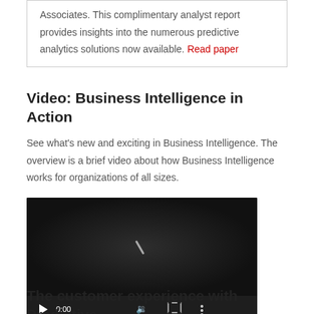Associates. This complimentary analyst report provides insights into the numerous predictive analytics solutions now available. Read paper
Video: Business Intelligence in Action
See what's new and exciting in Business Intelligence. The overview is a brief video about how Business Intelligence works for organizations of all sizes.
[Figure (screenshot): Embedded video player showing a dark/black video with playback controls at the bottom including a play button, time display '0:00', volume, fullscreen, and more options icons, and a progress bar.]
The customer experience with Predictive